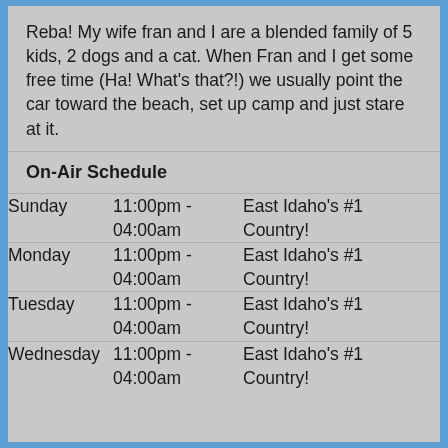Reba! My wife fran and I are a blended family of 5 kids, 2 dogs and a cat. When Fran and I get some free time (Ha! What's that?!) we usually point the car toward the beach, set up camp and just stare at it.
On-Air Schedule
| Sunday | 11:00pm - 04:00am | East Idaho's #1 Country! |
| Monday | 11:00pm - 04:00am | East Idaho's #1 Country! |
| Tuesday | 11:00pm - 04:00am | East Idaho's #1 Country! |
| Wednesday | 11:00pm - 04:00am | East Idaho's #1 Country! |